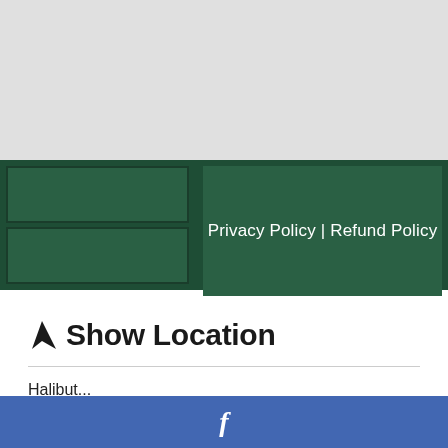[Figure (other): Gray background area at the top of the page, representing a website header region]
Privacy Policy | Refund Policy
Show Location
Halibut...
[Figure (logo): Facebook icon (f) in a blue bar at the bottom of the page]